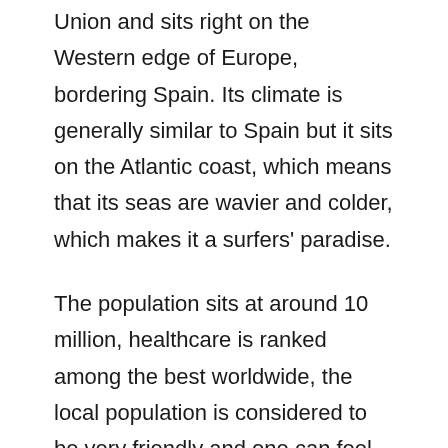Union and sits right on the Western edge of Europe, bordering Spain. Its climate is generally similar to Spain but it sits on the Atlantic coast, which means that its seas are wavier and colder, which makes it a surfers' paradise.
The population sits at around 10 million, healthcare is ranked among the best worldwide, the local population is considered to be very friendly and one can feel safe in the streets. There are very low